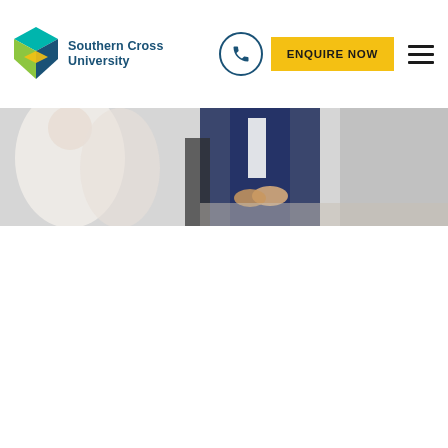[Figure (logo): Southern Cross University logo with coloured diamond/cube icon and text]
ENQUIRE NOW
[Figure (photo): Hero image showing business meeting scene with person in navy suit and others in office setting]